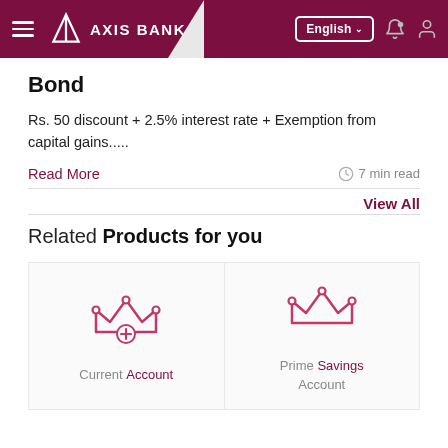[Figure (screenshot): Axis Bank website header with hamburger menu, Axis Bank logo, English language selector, notification bell icon, and user profile icon on dark maroon background]
Bond
Rs. 50 discount + 2.5% interest rate + Exemption from capital gains.....
Read More
7 min read
View All
Related Products for you
[Figure (illustration): Current Account product card with crown-plus icon in maroon outline]
[Figure (illustration): Prime Savings Account product card with crown icon in maroon outline]